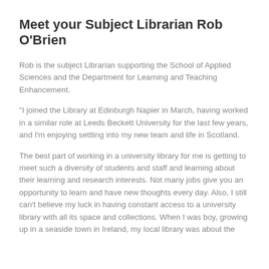Meet your Subject Librarian Rob O'Brien
Rob is the subject Librarian supporting the School of Applied Sciences and the Department for Learning and Teaching Enhancement.
"I joined the Library at Edinburgh Napier in March, having worked in a similar role at Leeds Beckett University for the last few years, and I'm enjoying settling into my new team and life in Scotland.
The best part of working in a university library for me is getting to meet such a diversity of students and staff and learning about their learning and research interests. Not many jobs give you an opportunity to learn and have new thoughts every day. Also, I still can't believe my luck in having constant access to a university library with all its space and collections. When I was boy, growing up in a seaside town in Ireland, my local library was about the